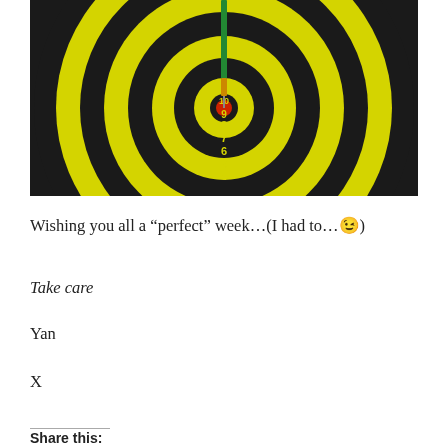[Figure (photo): A yellow and black dartboard with a dart (green shaft) hitting the bullseye (red center). Numbers visible: 10, 9, 8, 7, 6, 5, 4 along the bottom of the board.]
Wishing you all a “perfect” week…(I had to…😉)
Take care
Yan
X
Share this: